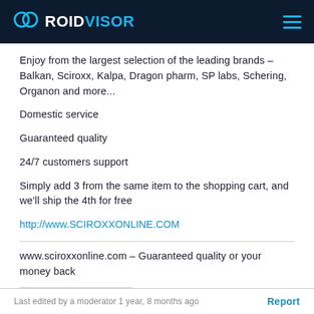ROIDVISOR
Enjoy from the largest selection of the leading brands – Balkan, Sciroxx, Kalpa, Dragon pharm, SP labs, Schering, Organon and more...
Domestic service
Guaranteed quality
24/7 customers support
Simply add 3 from the same item to the shopping cart, and we'll ship the 4th for free
http://www.SCIROXXONLINE.COM
www.sciroxxonline.com – Guaranteed quality or your money back
Last edited by a moderator 1 year, 8 months ago   Report